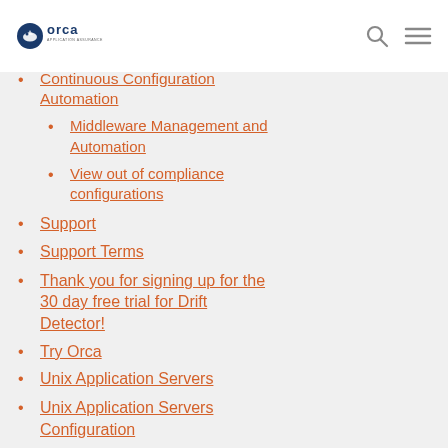Orca Application Assurance logo, search icon, menu icon
Continuous Configuration Automation
Middleware Management and Automation
View out of compliance configurations
Support
Support Terms
Thank you for signing up for the 30 day free trial for Drift Detector!
Try Orca
Unix Application Servers
Unix Application Servers Configuration